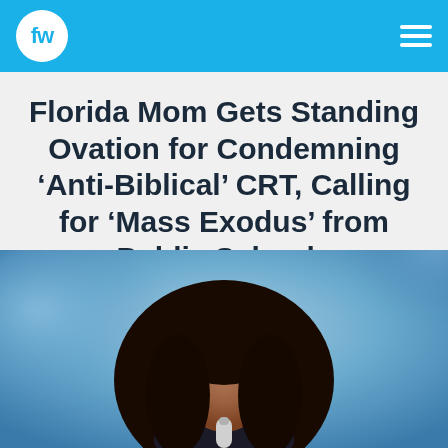fw
Florida Mom Gets Standing Ovation for Condemning ‘Anti-Biblical’ CRT, Calling for ‘Mass Exodus’ from Public Schools
[Figure (photo): A Black woman with long dark hair speaking at a panel or conference, holding a microphone, with a blurred blue backdrop behind her.]